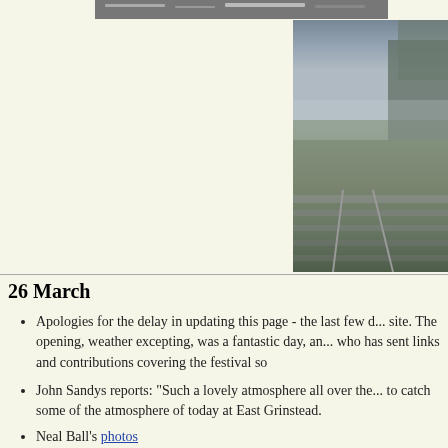[Figure (photo): Partial view of railway tracks at top of page, cropped]
[Figure (photo): Winter scene with snow or frost on railway tracks and sleepers, trees in background with mist]
26 March
Apologies for the delay in updating this page - the last few d... site. The opening, weather excepting, was a fantastic day, an... who has sent links and contributions covering the festival so
John Sandys reports: "Such a lovely atmosphere all over the... to catch some of the atmosphere of today at East Grinstead.
Neal Ball's photos